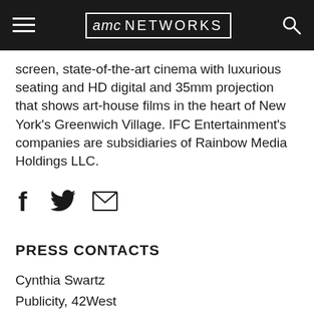AMC NETWORKS
screen, state-of-the-art cinema with luxurious seating and HD digital and 35mm projection that shows art-house films in the heart of New York's Greenwich Village. IFC Entertainment's companies are subsidiaries of Rainbow Media Holdings LLC.
[Figure (other): Social share icons: Facebook, Twitter, Email]
PRESS CONTACTS
Cynthia Swartz
Publicity, 42West
O: (212)277-7557
C: 8170597-0804